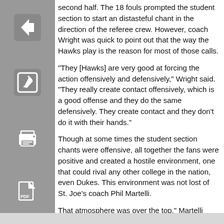second half. The 18 fouls prompted the student section to start an distasteful chant in the direction of the referee crew. However, coach Wright was quick to point out that the way the Hawks play is the reason for most of those calls.
“They [Hawks] are very good at forcing the action offensively and defensively,” Wright said. “They really create contact offensively, which is a good offense and they do the same defensively. They create contact and they don’t do it with their hands.”
Though at some times the student section chants were offensive, all together the fans were positive and created a hostile environment, one that could rival any other college in the nation, even Dukes. This environment was not lost of St. Joe’s coach Phil Martelli.
That atmosphere was over the top,” Martelli said. “It was hard to think.”
Nova will get back to action this Thursday when they travel to Washington D.C. to play big east rival Georgetown at 7:30 p.m.